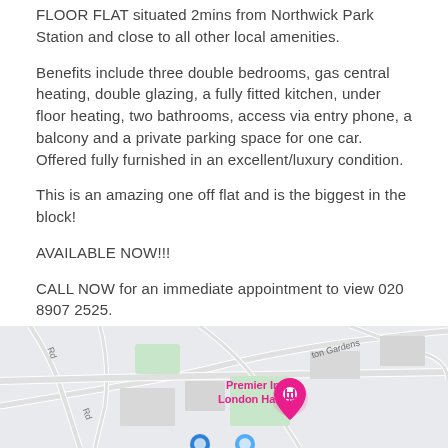FLOOR FLAT situated 2mins from Northwick Park Station and close to all other local amenities.
Benefits include three double bedrooms, gas central heating, double glazing, a fully fitted kitchen, under floor heating, two bathrooms, access via entry phone, a balcony and a private parking space for one car. Offered fully furnished in an excellent/luxury condition.
This is an amazing one off flat and is the biggest in the block!
AVAILABLE NOW!!!
CALL NOW for an immediate appointment to view 020 8907 2525.
[Figure (map): Google Maps screenshot showing Premier Inn London Harrow location with nearby roads and surroundings]